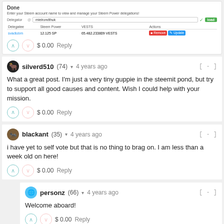[Figure (screenshot): Screenshot of Steem Power delegation interface showing 'Done' title, delegator input field with 'mielrondthuk', table with columns Delegatee, Steem Power, VESTS, Actions, and one row: svadlobm, 12.125 SP, 65.482.233809 VESTS, with Remove and Update buttons]
$ 0.00   Reply
silverd510 (74) ▾  4 years ago
What a great post. I'm just a very tiny guppie in the steemit pond, but try to support all good causes and content. Wish I could help with your mission.
$ 0.00   Reply
blackant (35) ▾  4 years ago
i have yet to self vote but that is no thing to brag on. I am less than a week old on here!
$ 0.00   Reply
personz (66) ▾  4 years ago
Welcome aboard!
$ 0.00   Reply